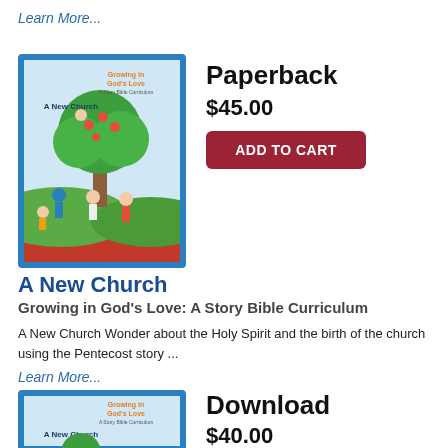Learn More...
[Figure (illustration): Book cover for 'A New Church' from Growing in God's Love: A Story Bible Curriculum, showing children around a tree with colorful illustration]
Paperback
$45.00
ADD TO CART
A New Church
Growing in God's Love: A Story Bible Curriculum
A New Church Wonder about the Holy Spirit and the birth of the church using the Pentecost story ...
Learn More...
[Figure (illustration): Partial book cover for 'A New Church' from Growing in God's Love, showing the top portion with title text]
Download
$40.00